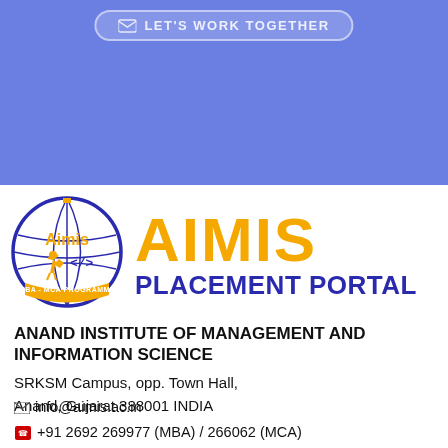[Figure (other): Blue banner background with 'LET'S WORK TOGETHER' button]
[Figure (logo): AIMIS circular logo with globe, runner, code icon, and MBA-MCA PROGRAMME text at the bottom]
AIMIS PLACEMENT PORTAL
ANAND INSTITUTE OF MANAGEMENT AND INFORMATION SCIENCE
SRKSM Campus, opp. Town Hall,
Anand, Gujarat 388001 INDIA
info@aimis.ac.in
+91 2692 269977 (MBA) / 266062 (MCA)